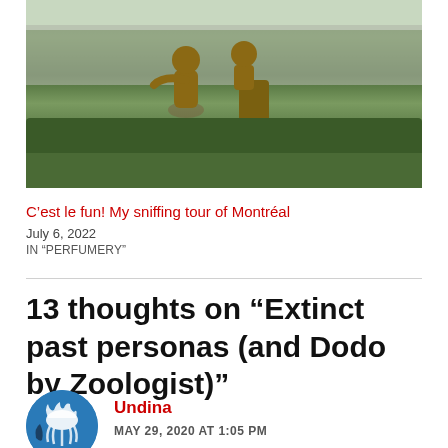[Figure (photo): Outdoor photo showing bronze statues of children in a garden with green hedges and bushes, city buildings visible in background.]
C’est le fun! My sniffing tour of Montréal
July 6, 2022
IN “PERFUMERY”
13 thoughts on “Extinct past personas (and Dodo by Zoologist)”
Undina
MAY 29, 2020 AT 1:05 PM